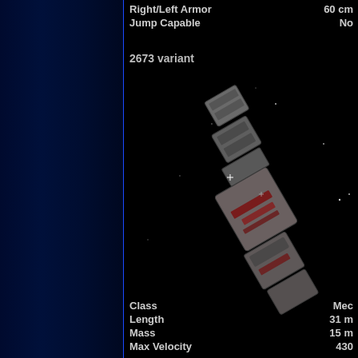| Property | Value |
| --- | --- |
| Right/Left Armor | 60 cm |
| Jump Capable | No |
2673 variant
[Figure (illustration): 3D rendered spacecraft/mech image against a black starfield background, showing a mechanical vehicle with boxy angular components in gray/brown tones with red markings, tilted diagonally]
| Property | Value |
| --- | --- |
| Class | Mec... |
| Length | 31 m... |
| Mass | 15 m... |
| Max Velocity | 430... |